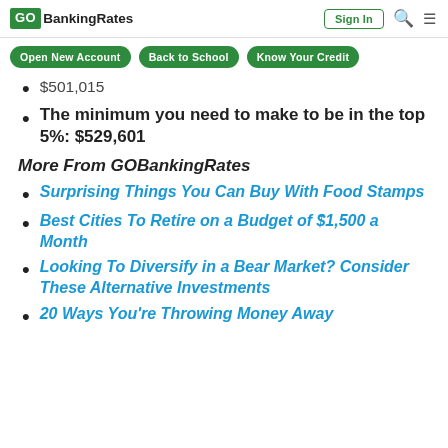GOBankingRates | Sign In
$501,015
The minimum you need to make to be in the top 5%: $529,601
More From GOBankingRates
Surprising Things You Can Buy With Food Stamps
Best Cities To Retire on a Budget of $1,500 a Month
Looking To Diversify in a Bear Market? Consider These Alternative Investments
20 Ways You're Throwing Money Away